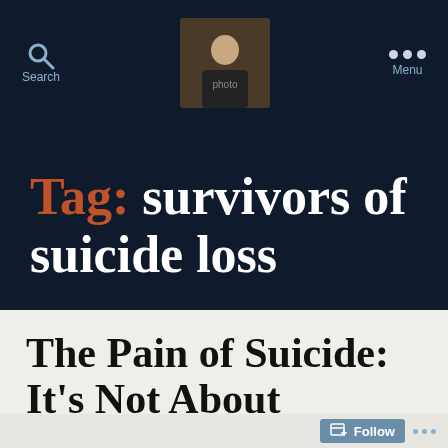Search  [profile image]  Menu
Tag: survivors of suicide loss
The Pain of Suicide: It's Not About